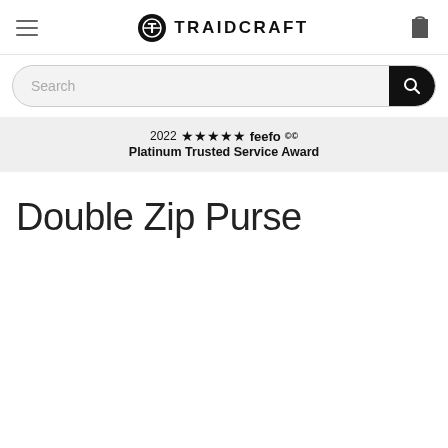[Figure (logo): Traidcraft website navigation bar with hamburger menu on left, Traidcraft logo in center, and shopping bag icon on right]
[Figure (screenshot): Search input bar with rounded corners on grey background and black search button on right]
[Figure (infographic): 2022 Feefo Platinum Trusted Service Award banner with 5 stars]
Double Zip Purse